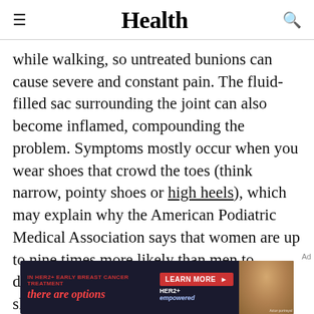Health
while walking, so untreated bunions can cause severe and constant pain. The fluid-filled sac surrounding the joint can also become inflamed, compounding the problem. Symptoms mostly occur when you wear shoes that crowd the toes (think narrow, pointy shoes or high heels), which may explain why the American Podiatric Medical Association says that women are up to nine times more likely than men to develop bunions. To reduce pain, opt for shoes with a wide toe box and heels two inches or lower. Gel pads placed over bunions
[Figure (advertisement): Advertisement banner for HER2+ early breast cancer treatment. Text reads: IN HER2+ EARLY BREAST CANCER TREATMENT / there are options / LEARN MORE > / HER2+ empowered / Actor portrayal]